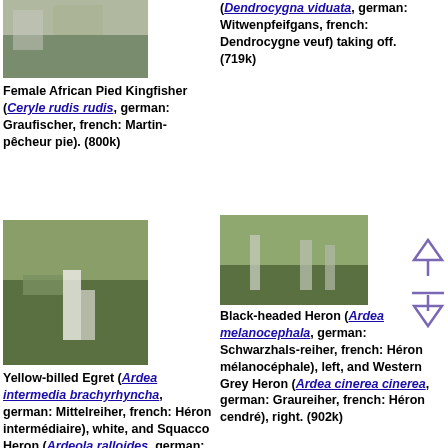[Figure (photo): Female African Pied Kingfisher bird photo]
Female African Pied Kingfisher (Ceryle rudis rudis, german: Graufischer, french: Martin-pêcheur pie). (800k)
[Figure (photo): White egret among grass photo (top right, partial)]
(Dendrocygna viduata, german: Witwenpfeifgans, french: Dendrocygne veuf) taking off. (719k)
[Figure (photo): Yellow-billed Egret in grassy field photo]
Yellow-billed Egret (Ardea intermedia brachyrhyncha, german: Mittelreiher, french: Héron intermédiaire), white, and Squacco Heron (Ardeola ralloides, german: Rallenreiher,
[Figure (photo): Black-headed Heron and Western Grey Heron in field photo]
Black-headed Heron (Ardea melanocephala, german: Schwarzhals-reiher, french: Héron mélanocéphale), left, and Western Grey Heron (Ardea cinerea cinerea, german: Graureiher, french: Héron cendré), right. (902k)